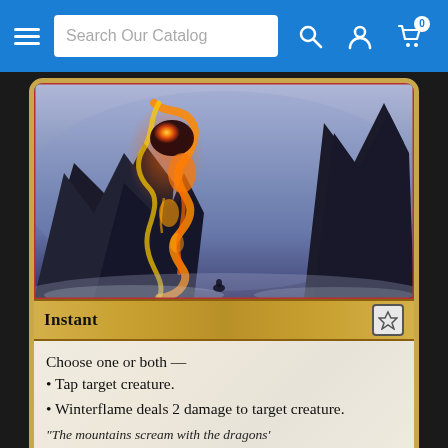Search Our Catalog
[Figure (illustration): Magic: The Gathering card art showing a fiery lava creature or burst of flame between dark rocky mountain spires in a misty, cold blue landscape with a small figure at the bottom]
Instant
Choose one or both —
• Tap target creature.
• Winterflame deals 2 damage to target creature.

"The mountains scream with the dragons'
"The mountains scream with the dragons'